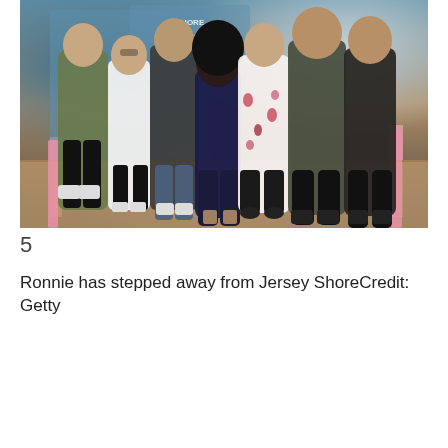[Figure (photo): Group photo of Jersey Shore cast members posing together on a TV show set with colorful background, pink accent strips, and wood-look flooring.]
5
Ronnie has stepped away from Jersey ShoreCredit: Getty